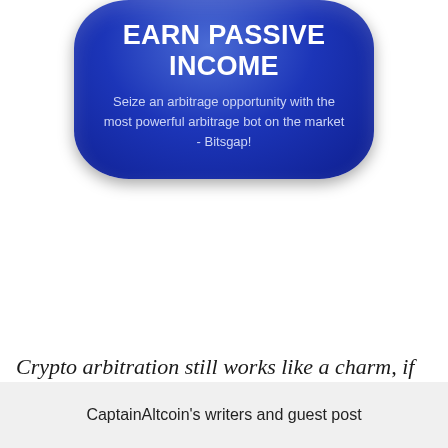[Figure (other): Blue rounded pill-shaped banner with bold white text 'EARN PASSIVE INCOME' and subtitle 'Seize an arbitrage opportunity with the most powerful arbitrage bot on the market - Bitsgap!']
Crypto arbitration still works like a charm, if you do it right! Check out Bitsgap, leading crypto arbitrage bot to learn the best way of doing it.
CaptainAltcoin's writers and guest post